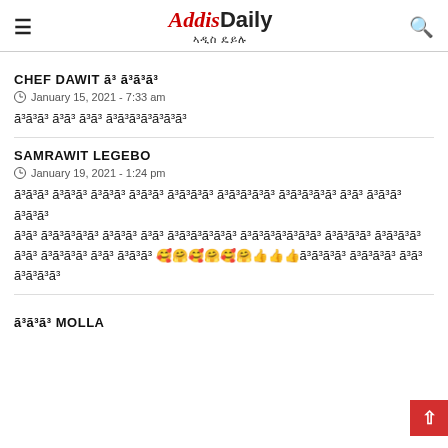AddisDaily ኣዲስ ዴይሉ
CHEF DAWIT ፫፫ ፫፫፫
January 15, 2021 - 7:33 am
፫፫፫ ፫፫ ፫፫ ፫፫፫፫፫፫፫
SAMRAWIT LEGEBO
January 19, 2021 - 1:24 pm
፫፫፫ ፫፫፫ ፫፫፫ ፫፫፫ ፫፫፫፫ ፫፫፫፫፫ ፫፫፫፫፫ ፫፫ ፫፫፫ ፫፫፫ ፫፫ ፫፫፫፫፫ ፫፫ ፫፫ ፫፫፫፫፫፫ ፫፫፫፫፫፫፫ ፫፫፫፫ ፫፫፫፫ ፫፫ ፫፫፫፫ ፫፫ ፫፫፫ 🥰🥰🤗🥰🤗🥰👍👍👍፫፫፫፫ ፫፫፫፫ ፫፫ ፫፫፫፫
፫፫፫ MOLLA